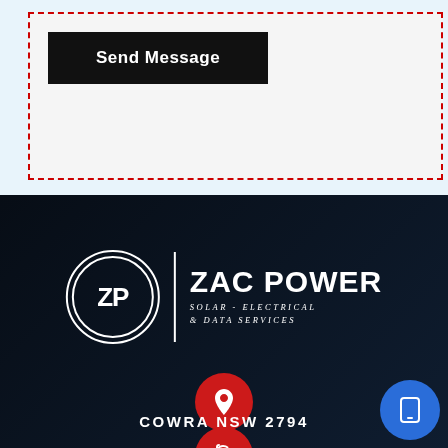[Figure (screenshot): Send Message button inside a dashed red border form area on a light blue background]
[Figure (logo): Zac Power Solar - Electrical & Data Services logo with ZP circle emblem on dark navy background]
COWRA NSW 2794
[Figure (illustration): Red circle with phone/call icon at bottom of dark section]
[Figure (illustration): Blue floating mobile/tablet icon button at bottom right]